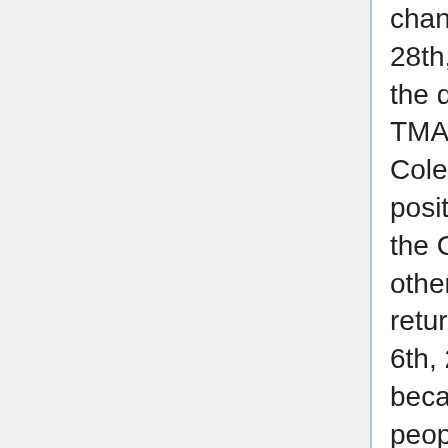channel afterwards as well. However, on March 28th, 2020, he had to delete the channel due to the drama involving pruning members inside of TMAFE. However, he came back the next day as Coleman Productions, and still holds a high position and influence in TMAFE. He later dropped the Coleman identity after a drama with some other mappers, with the new name Dzherik before returning to the "United World" name. On March 6th, 2021, United deleted general in TMAFE because his PC was lagging, this pissed off a lot of people, including Sossie and Konnor. There was an impeachment vote, which led to United being impeached and demoted to mod, he has now left TMAFE and only does mapping videos. The next day, March 7th, 2021, United announced his retirement from MSAgent and banned all